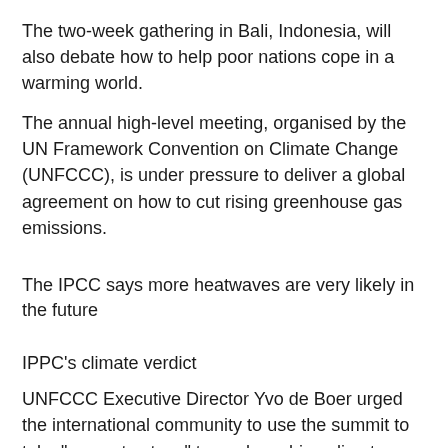The two-week gathering in Bali, Indonesia, will also debate how to help poor nations cope in a warming world.
The annual high-level meeting, organised by the UN Framework Convention on Climate Change (UNFCCC), is under pressure to deliver a global agreement on how to cut rising greenhouse gas emissions.
The IPCC says more heatwaves are very likely in the future
IPPC's climate verdict
UNFCCC Executive Director Yvo de Boer urged the international community to use the summit to take "concrete steps" towards curbing climate change.
"We urgently need to take increased action, given climate change predictions and the corresponding global adaptation needs," he said in his welcome message to delegates.